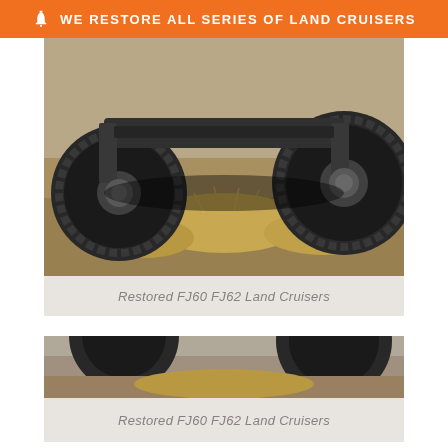WE RESTORE ALL SERIES OF LAND CRUISERS
[Figure (photo): Undercarriage and tires of a restored FJ60/FJ62 Land Cruiser on dry terrain with dry grass]
Restored FJ60 FJ62 Land Cruisers
[Figure (photo): Second photo of a restored FJ60/FJ62 Land Cruiser (partially visible)]
Restored FJ60 FJ62 Land Cruisers